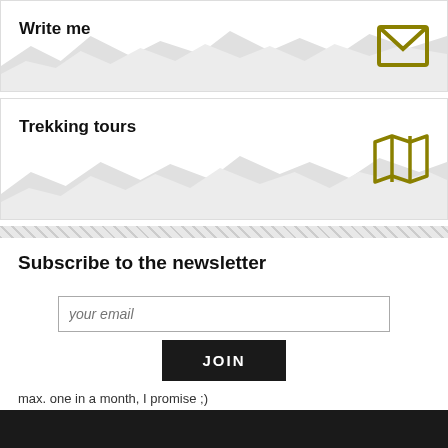Write me
[Figure (illustration): Card with mountain silhouette background and envelope icon in olive/gold color]
Trekking tours
[Figure (illustration): Card with mountain silhouette background and map/book icon in olive/gold color]
Subscribe to the newsletter
your email
JOIN
max. one in a month, I promise ;)
Back to top